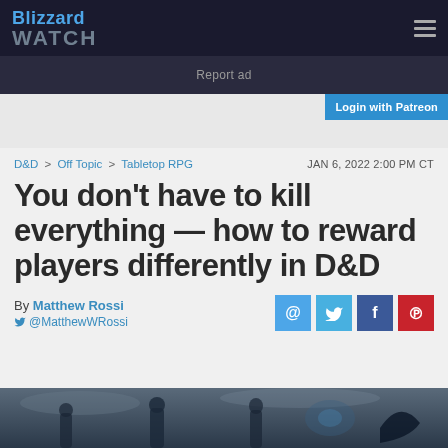Blizzard WATCH
Report ad
Login with Patreon
D&D > Off Topic > Tabletop RPG   JAN 6, 2022 2:00 PM CT
You don’t have to kill everything — how to reward players differently in D&D
By Matthew Rossi @MatthewWRossi
[Figure (illustration): Fantasy RPG artwork showing adventurers in battle]